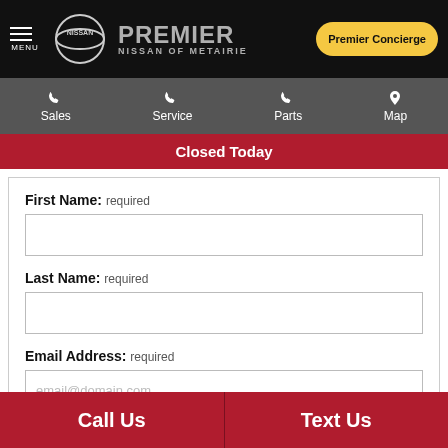Premier Nissan of Metairie — navigation header with Sales, Service, Parts, Map
Closed Today
First Name: required
Last Name: required
Email Address: required
email@domain.com
Call Us
Text Us